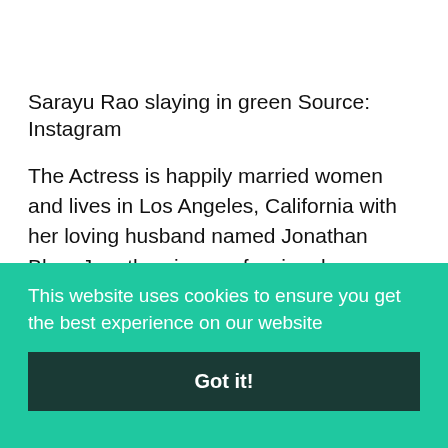Sarayu Rao slaying in green Source: Instagram
The Actress is happily married women and lives in Los Angeles, California with her loving husband named Jonathan Blue. Jonathan is a professional Cameraman and Chairman and Managing Director of Blue Equity, LLC. He has done graduation with a Bachelor of Arts degree in Cinema-Television
This website uses cookies to ensure you get the best experience on our website
Got it!